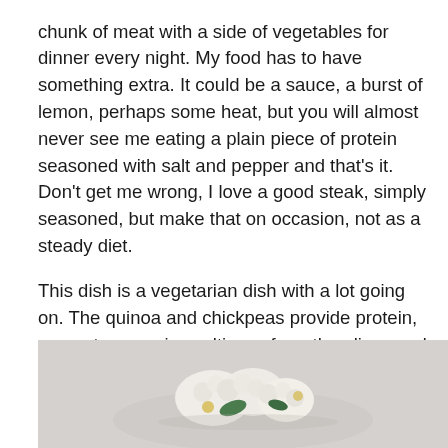chunk of meat with a side of vegetables for dinner every night.  My food has to have something extra.  It could be a sauce, a burst of lemon, perhaps some heat, but you will almost never see me eating a plain piece of protein seasoned with salt and pepper and that's it.  Don't get me wrong, I love a good steak, simply seasoned, but make that on occasion, not as a steady diet.

This dish is a vegetarian dish with a lot going on.  The quinoa and chickpeas provide protein, you get some nice saltiness from the olives and the lemon really brightens it up.  I eat this with a small container of plain Greek yogurt on the side for lunch and find that it fills me up just fine until dinner.  I hope you enjoy it as much as I do.
[Figure (photo): A food photo showing what appears to be a dish with white and green ingredients, likely the quinoa chickpea salad described in the text, on a light gray background.]